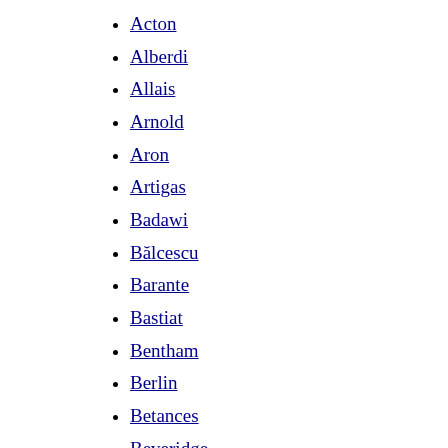Acton
Alberdi
Allais
Arnold
Aron
Artigas
Badawi
Bălcescu
Barante
Bastiat
Bentham
Berlin
Betances
Beveridge
Blum
Bobbio
Brentano
Bright
Broglie
Burke
Čapek
Cassirer
Cavour
Chicherin